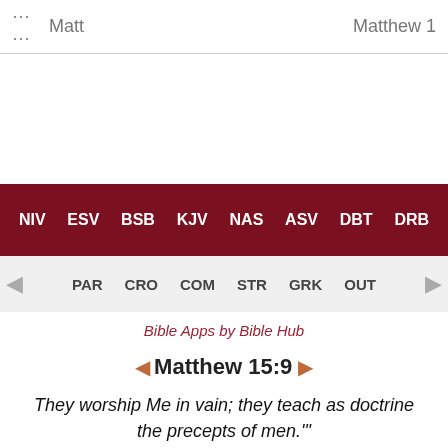Matt    Matthew 1
NIV  ESV  BSB  KJV  NAS  ASV  DBT  DRB
PAR  CRO  COM  STR  GRK  OUT
Bible Apps by Bible Hub
◄ Matthew 15:9 ►
They worship Me in vain; they teach as doctrine the precepts of men.'"
Cross References